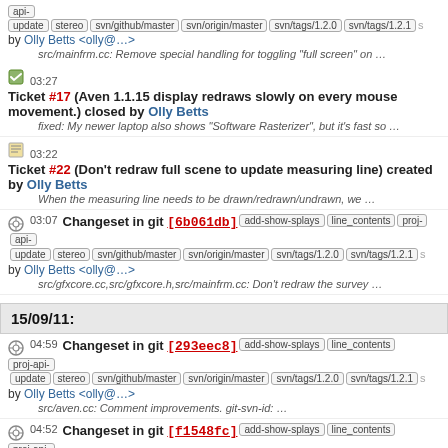api-update stereo svn/github/master svn/origin/master svn/tags/1.2.0 svn/tags/1.2.1 s by Olly Betts <olly@...> src/mainfrm.cc: Remove special handling for toggling "full screen" on ...
03:27 Ticket #17 (Aven 1.1.15 display redraws slowly on every mouse movement.) closed by Olly Betts fixed: My newer laptop also shows "Software Rasterizer", but it's fast so ...
03:22 Ticket #22 (Don't redraw full scene to update measuring line) created by Olly Betts When the measuring line needs to be drawn/redrawn/undrawn, we ...
03:07 Changeset in git [6b061db] add-show-splays line_contents proj-api-update stereo svn/github/master svn/origin/master svn/tags/1.2.0 svn/tags/1.2.1 s by Olly Betts <olly@...> src/gfxcore.cc,src/gfxcore.h,src/mainfrm.cc: Don't redraw the survey ...
15/09/11:
04:59 Changeset in git [293eec8] add-show-splays line_contents proj-api-update stereo svn/github/master svn/origin/master svn/tags/1.2.0 svn/tags/1.2.1 s by Olly Betts <olly@...> src/aven.cc: Comment improvements. git-svn-id: ...
04:52 Changeset in git [f1548fc] add-show-splays line_contents proj-api-update stereo svn/github/master svn/origin/master svn/tags/1.2.0 svn/tags/1.2.1 s